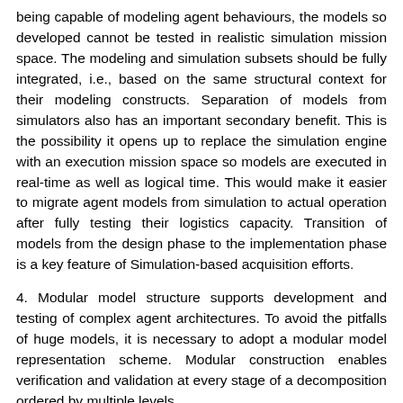being capable of modeling agent behaviours, the models so developed cannot be tested in realistic simulation mission space. The modeling and simulation subsets should be fully integrated, i.e., based on the same structural context for their modeling constructs. Separation of models from simulators also has an important secondary benefit. This is the possibility it opens up to replace the simulation engine with an execution mission space so models are executed in real-time as well as logical time. This would make it easier to migrate agent models from simulation to actual operation after fully testing their logistics capacity. Transition of models from the design phase to the implementation phase is a key feature of Simulation-based acquisition efforts.
4. Modular model structure supports development and testing of complex agent architectures. To avoid the pitfalls of huge models, it is necessary to adopt a modular model representation scheme. Modular construction enables verification and validation at every stage of a decomposition ordered by multiple levels.
5. Systematic model selection and composition based on generalisation and granularity. Constraints in multi-resolution should